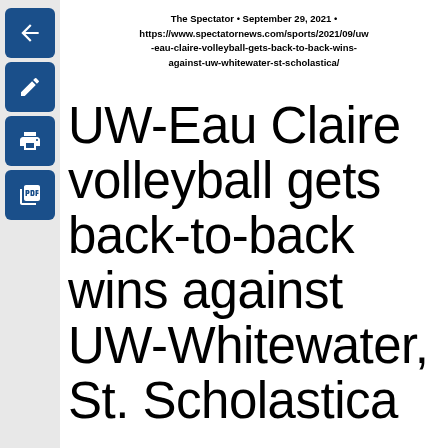The Spectator • September 29, 2021 • https://www.spectatornews.com/sports/2021/09/uw-eau-claire-volleyball-gets-back-to-back-wins-against-uw-whitewater-st-scholastica/
UW-Eau Claire volleyball gets back-to-back wins against UW-Whitewater, St. Scholastica